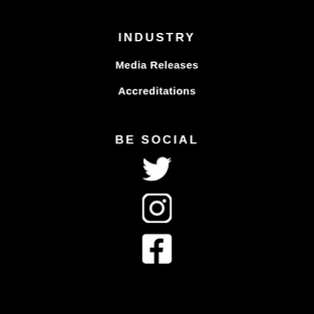INDUSTRY
Media Releases
Accreditations
BE SOCIAL
[Figure (illustration): Twitter bird icon (white)]
[Figure (illustration): Instagram camera icon (white)]
[Figure (illustration): Facebook F icon (white square)]
© Cinéfest 1989 – 2022
All Rights Reserved